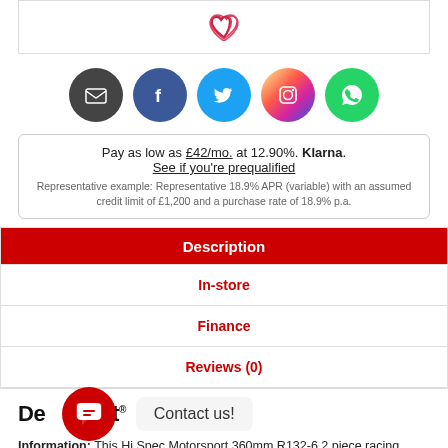[Figure (other): Heart/wishlist icon in a bordered box]
[Figure (other): Row of social media icons: Email, Facebook, Twitter, Instagram, WhatsApp]
Pay as low as £42/mo. at 12.90%. Klarna. See if you're prequalified
Representative example: Representative 18.9% APR (variable) with an assumed credit limit of £1,200 and a purchase rate of 18.9% p.a.
Description
In-store
Finance
Reviews (0)
[Figure (other): Depot logo with chat bubble widget and Contact us! callout box]
Information: This Hi Spec Motorsport 360mm R132-6 2 piece racing